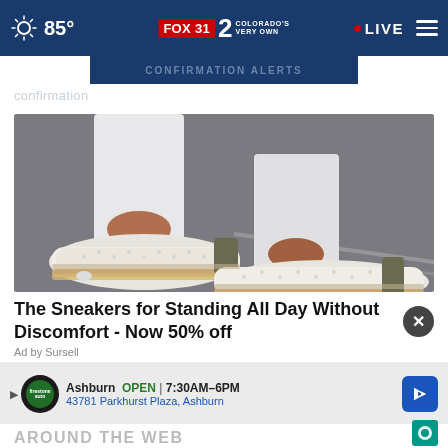85° FOX 31 2 COLORADO'S VERY OWN • LIVE
[Figure (screenshot): Partial banner strip with greyed out confirmation text overlay]
[Figure (photo): Close-up photo of a person wearing white knit sneakers with espadrille-style rope sole and olive/khaki heel detail, wearing white jeans, walking on pavement]
The Sneakers for Standing All Day Without Discomfort - Now 50% off
Ad by Sursell
[Figure (infographic): Bottom advertisement strip: Firestone Auto Care - Ashburn OPEN 7:30AM-6PM, 43781 Parkhurst Plaza, Ashburn with navigation arrow icon]
AROUND THE WEB